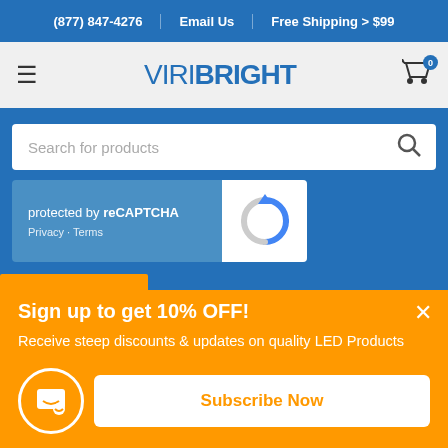(877) 847-4276 | Email Us | Free Shipping > $99
[Figure (logo): ViriBright logo with hamburger menu and cart icon]
Search for products
[Figure (other): Google reCAPTCHA widget showing 'protected by reCAPTCHA' with Privacy and Terms links and reCAPTCHA spinner icon]
Sign up to get 10% OFF!
Receive steep discounts & updates on quality LED Products
Subscribe Now